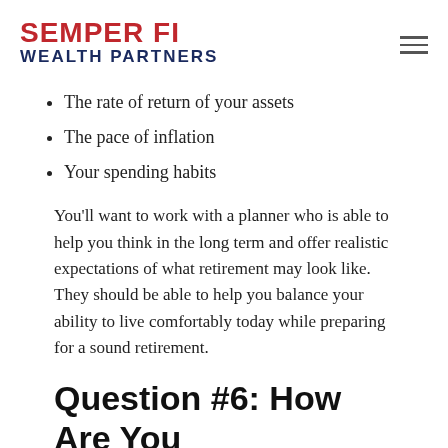SEMPER FI WEALTH PARTNERS
The rate of return of your assets
The pace of inflation
Your spending habits
You'll want to work with a planner who is able to help you think in the long term and offer realistic expectations of what retirement may look like. They should be able to help you balance your ability to live comfortably today while preparing for a sound retirement.
Question #6: How Are You Compensated?